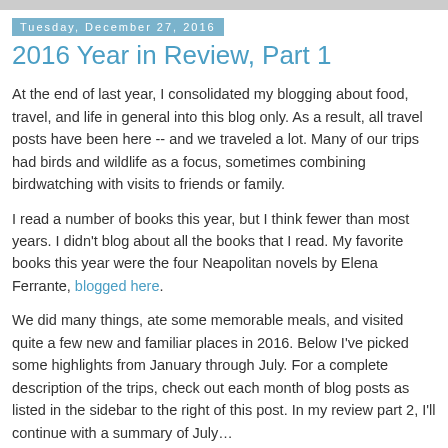Tuesday, December 27, 2016
2016 Year in Review, Part 1
At the end of last year, I consolidated my blogging about food, travel, and life in general into this blog only. As a result, all travel posts have been here -- and we traveled a lot. Many of our trips had birds and wildlife as a focus, sometimes combining birdwatching with visits to friends or family.
I read a number of books this year, but I think fewer than most years. I didn't blog about all the books that I read. My favorite books this year were the four Neapolitan novels by Elena Ferrante, blogged here.
We did many things, ate some memorable meals, and visited quite a few new and familiar places in 2016. Below I've picked some highlights from January through July. For a complete description of the trips, check out each month of blog posts as listed in the sidebar to the right of this post. In my review part 2, I'll continue with a summary of July…